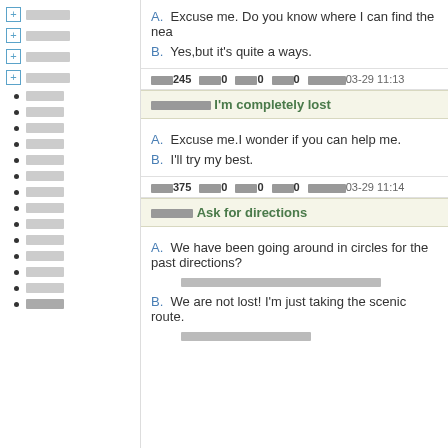[+] □□□□
[+] □□□□
[+] □□□□
[+] □□□□
• □□□□
• □□□□
• □□□□
• □□□□
• □□□□
• □□□□
• □□□□
• □□□□
• □□□□
• □□□□
• □□□□
• □□□□
• □□□□
• □□□□
A. Excuse me. Do you know where I can find the nea
B. Yes,but it's quite a ways.
□□□245  □□□0  □□□0  □□□0  □□□□□03-29 11:13
□□□□□□□□ I'm completely lost
A. Excuse me.I wonder if you can help me.
B. I'll try my best.
□□□375  □□□0  □□□0  □□□0  □□□□□03-29 11:14
□□□□□Ask for directions
A. We have been going around in circles for the past directions?
□□□□□□□□□□□□□□□□□□□□□□□□□
B. We are not lost! I'm just taking the scenic route.
□□□□□□□□□□□□□□□□□